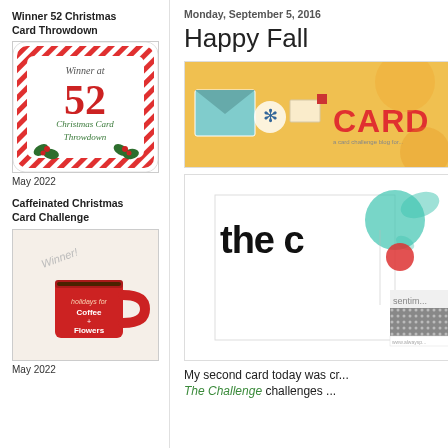Winner 52 Christmas Card Throwdown
[Figure (illustration): Winner badge for 52 Christmas Card Throwdown — red candy-stripe border, large '52' in red, holly decoration, text 'Winner at Christmas Card Throwdown']
May 2022
Caffeinated Christmas Card Challenge
[Figure (illustration): Winner badge for Caffeinated Christmas Card Challenge — cream background, red coffee mug with text 'holidays for Coffee + Flowers', 'Winner!' text]
May 2022
Monday, September 5, 2016
Happy Fall
[Figure (illustration): Partial banner image showing 'CARDS' text with envelope and snowflake icons on an orange/yellow background]
[Figure (illustration): Partial card sketch/layout showing 'the c' text with red and teal paint splatters, 'sentim...' text, and dotted pattern, from a card challenge website]
My second card today was cr... The Challenge challenges ...